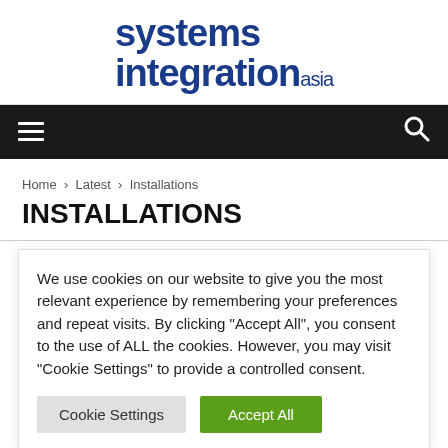[Figure (logo): Systems Integration Asia logo — bold dark blue sans-serif text reading 'systems integration' with 'asia' in smaller text to the right]
☰  🔍
Home › Latest › Installations
INSTALLATIONS
We use cookies on our website to give you the most relevant experience by remembering your preferences and repeat visits. By clicking "Accept All", you consent to the use of ALL the cookies. However, you may visit "Cookie Settings" to provide a controlled consent.
Cookie Settings  Accept All